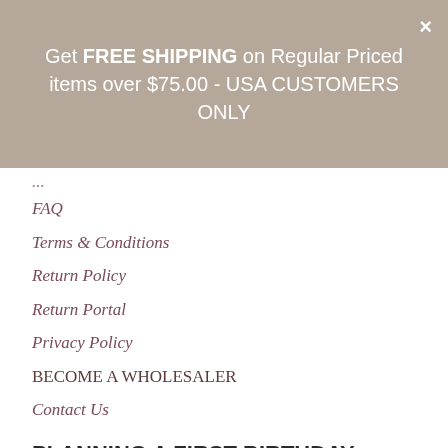Get FREE SHIPPING on Regular Priced items over $75.00 - USA CUSTOMERS ONLY
FAQ
Terms & Conditions
Return Policy
Return Portal
Privacy Policy
BECOME A WHOLESALER
Contact Us
PLANNING A FIRST BIRTHDAY
Planning Your Daughters First Birthday Party & Outfits!
First Birthday Party & Outfits [partially obscured]
tique [partially obscured]
Ruffles Birthday Ideas